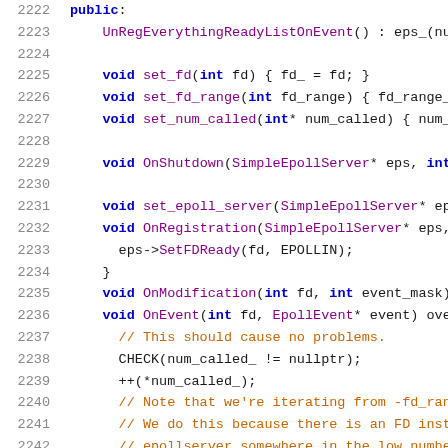[Figure (screenshot): Source code viewer showing C++ code lines 2222-2243 with syntax highlighting. Line numbers in gray on left, keywords in blue bold, function names and types in purple, comments in orange/gold, operators and identifiers in black.]